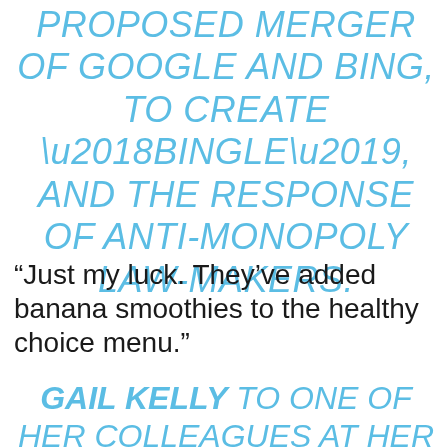PROPOSED MERGER OF GOOGLE AND BING, TO CREATE ‘BINGLE’, AND THE RESPONSE OF ANTI-MONOPOLY LAW-MAKERS.
“Just my luck. They’ve added banana smoothies to the healthy choice menu.”
GAIL KELLY TO ONE OF HER COLLEAGUES AT HER NEW